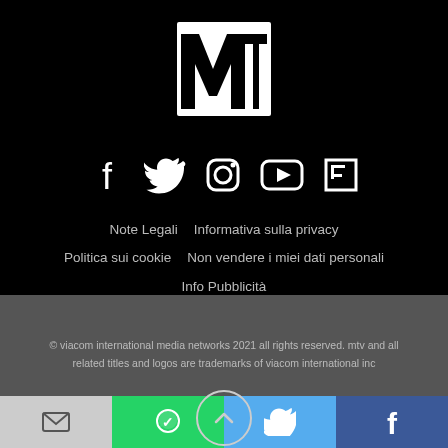[Figure (logo): MTV logo — white M and TV letters on black background in a square/shield shape]
[Figure (infographic): Row of 5 social media icons in white on black: Facebook, Twitter, Instagram, YouTube, Flipboard]
Note Legali   Informativa sulla privacy
Politica sui cookie   Non vendere i miei dati personali
Info Pubblicità
© viacom international media networks 2021 all rights reserved. mtv and all related titles and logos are trademarks of viacom international inc
[Figure (infographic): Share bar at bottom with 4 buttons: email (grey), WhatsApp (green), Twitter (blue), Facebook (dark blue)]